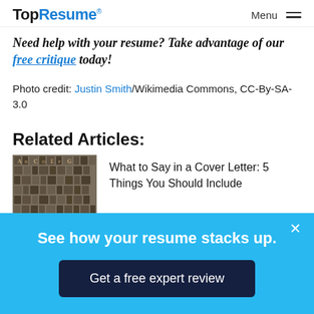TopResume® Menu
Need help with your resume? Take advantage of our free critique today!
Photo credit: Justin Smith/Wikimedia Commons, CC-By-SA-3.0
Related Articles:
[Figure (photo): Letterpress metal type blocks arranged together]
What to Say in a Cover Letter: 5 Things You Should Include
See how your resume stacks up.
Get a free expert review